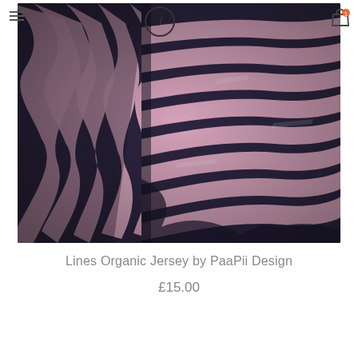[Figure (photo): Close-up photo of folded fabric with black and pink diagonal stripes pattern (organic jersey textile by PaaPii Design)]
Lines Organic Jersey by PaaPii Design
£15.00